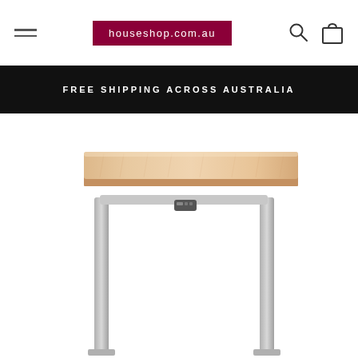houseshop.com.au
FREE SHIPPING ACROSS AUSTRALIA
[Figure (photo): A height-adjustable standing desk with a light wood-grain tabletop and silver/grey metal legs, photographed on white background. The desk shows two vertical support legs and a central cross-beam, with what appears to be a motor or control unit visible under the table surface.]